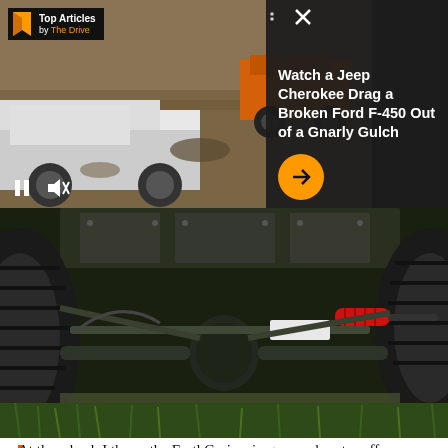[Figure (screenshot): Video player overlay showing a Jeep Cherokee dragging a broken Ford F-450 out of a rocky gulch. Top-left badge reads 'Top Articles by The Drive'. Video controls (pause, mute) visible at bottom left. Orange arrow button in lower center. Dots and X close button visible upper center.]
Watch a Jeep Cherokee Drag a Broken Ford F-450 Out of a Gnarly Gulch
[Figure (photo): Under-chassis photo of an off-road vehicle showing front axle, differential housing, red coil spring shock absorber, heavy-duty steering components, and large off-road tires. Viewed from below with grass visible at bottom.]
At the wheel, I throw the EarthCruiser in gear and motor off